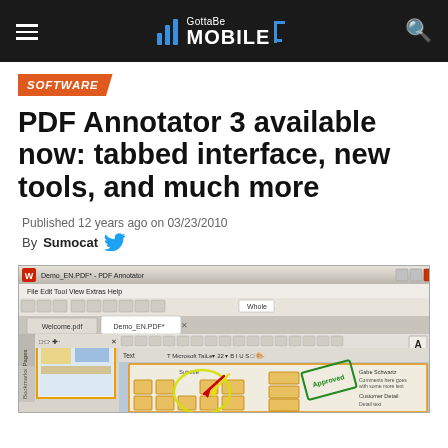GottaBe Mobile
SOFTWARE
PDF Annotator 3 available now: tabbed interface, new tools, and much more
Published 12 years ago on 03/23/2010
By Sumocat
[Figure (screenshot): Screenshot of PDF Annotator 3 application window showing Demo_EN.PDF with tabbed interface, toolbar, pages panel on left, and annotated PDF document with yellow highlights, red arrows, and an 'Approved' stamp.]